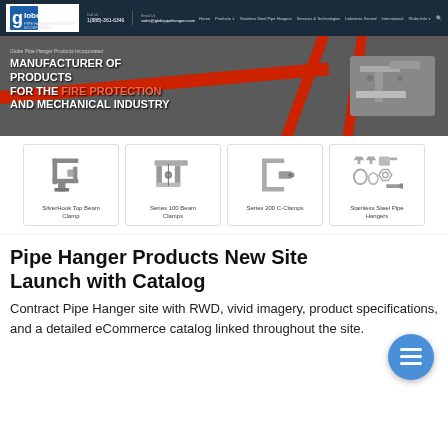[Figure (screenshot): Globe Pipe Hanger Products Inc. website screenshot showing navigation bar with logo, phone (1(888)-361-6346) and email (sales@globepipehangers.com) contact info, product navigation links, and a hero banner image of red pipe hanger hardware with text 'MANUFACTURER OF PRODUCTS FOR THE FIRE PROTECTION AND MECHANICAL INDUSTRY'. Below are 4 product thumbnail cards: SilverHook Top Beam Clamp, Series 100 Beam Clamps, Series 200 C-Clamps, Stainless Steel Pipe Hangers.]
Pipe Hanger Products New Site Launch with Catalog
Contract Pipe Hanger site with RWD, vivid imagery, product specifications, and a detailed eCommerce catalog linked throughout the site.